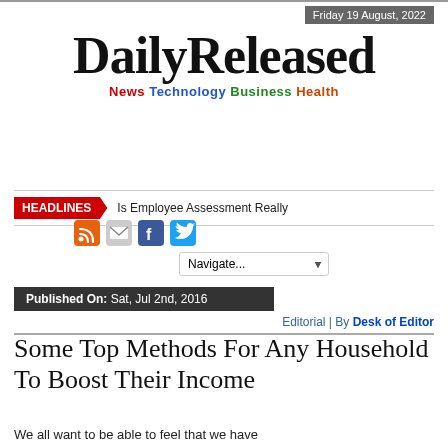Friday 19 August, 2022
DailyReleased
News Technology Business Health
HEADLINES Is Employee Assessment Really
Published On: Sat, Jul 2nd, 2016
Editorial | By Desk of Editor
Some Top Methods For Any Household To Boost Their Income
We all want to be able to feel that we have